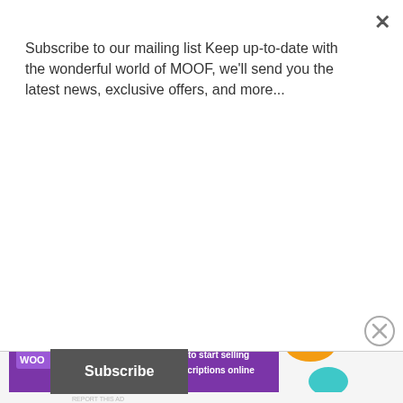Subscribe to our mailing list Keep up-to-date with the wonderful world of MOOF, we'll send you the latest news, exclusive offers, and more...
Subscribe
[Figure (logo): MOOF logo — large stylized decorative lettering 'MOOF' in black with smoke/cloud graphic above it]
Advertisements
[Figure (screenshot): WooCommerce advertisement banner: 'How to start selling subscriptions online']